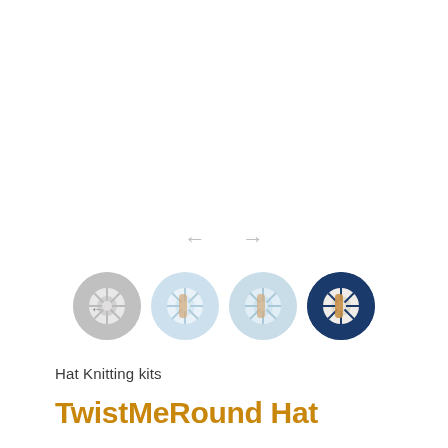[Figure (illustration): Navigation arrows (left and right) in light gray, used as carousel controls]
[Figure (illustration): Four circular thumbnail images of yarn/knitting kit spools: gray, light blue, pale blue, and dark navy blue]
Hat Knitting kits
TwistMeRound Hat